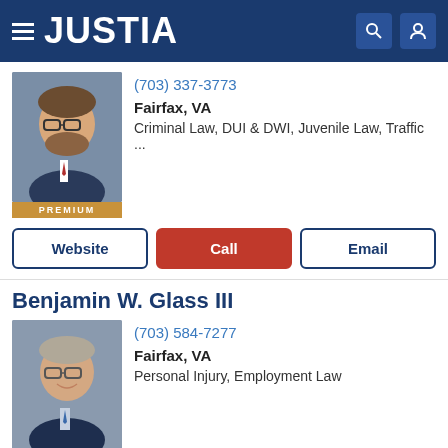JUSTIA
(703) 337-3773
Fairfax, VA
Criminal Law, DUI & DWI, Juvenile Law, Traffic ...
PREMIUM
Website | Call | Email
Benjamin W. Glass III
(703) 584-7277
Fairfax, VA
Personal Injury, Employment Law
PREMIUM
Website | Call | Email
Michael A Robinson